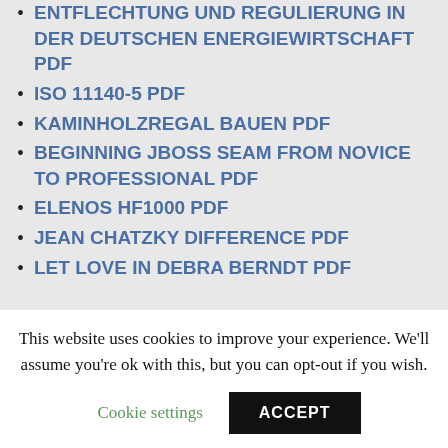ENTFLECHTUNG UND REGULIERUNG IN DER DEUTSCHEN ENERGIEWIRTSCHAFT PDF
ISO 11140-5 PDF
KAMINHOLZREGAL BAUEN PDF
BEGINNING JBOSS SEAM FROM NOVICE TO PROFESSIONAL PDF
ELENOS HF1000 PDF
JEAN CHATZKY DIFFERENCE PDF
LET LOVE IN DEBRA BERNDT PDF
This website uses cookies to improve your experience. We’ll assume you’re ok with this, but you can opt-out if you wish.
Cookie settings
ACCEPT